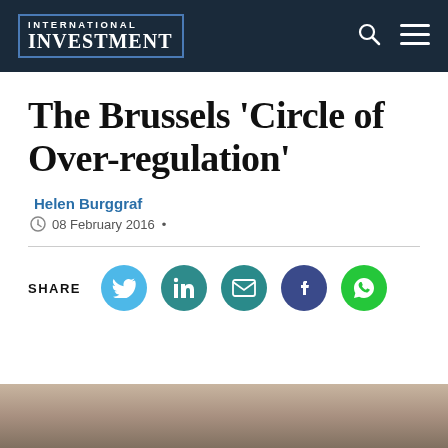INTERNATIONAL INVESTMENT
The Brussels ‘Circle of Over-regulation’
Helen Burggraf
08 February 2016 •
[Figure (infographic): Social share buttons row: SHARE label followed by circular icons for Twitter (light blue), LinkedIn (teal), Email (teal), Facebook (dark blue/indigo), WhatsApp (green)]
[Figure (photo): Partial photo of a person visible at the bottom of the page, cropped]